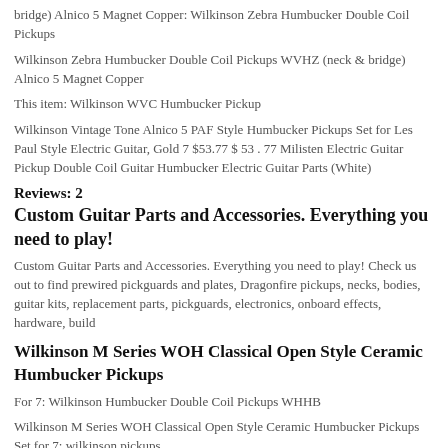bridge) Alnico 5 Magnet Copper: Wilkinson Zebra Humbucker Double Coil Pickups
Wilkinson Zebra Humbucker Double Coil Pickups WVHZ (neck & bridge) Alnico 5 Magnet Copper
This item: Wilkinson WVC Humbucker Pickup
Wilkinson Vintage Tone Alnico 5 PAF Style Humbucker Pickups Set for Les Paul Style Electric Guitar, Gold 7 $53.77 $ 53 . 77 Milisten Electric Guitar Pickup Double Coil Guitar Humbucker Electric Guitar Parts (White)
Reviews: 2
Custom Guitar Parts and Accessories. Everything you need to play!
Custom Guitar Parts and Accessories. Everything you need to play! Check us out to find prewired pickguards and plates, Dragonfire pickups, necks, bodies, guitar kits, replacement parts, pickguards, electronics, onboard effects, hardware, build
Wilkinson M Series WOH Classical Open Style Ceramic Humbucker Pickups
For 7: Wilkinson Humbucker Double Coil Pickups WHHB
Wilkinson M Series WOH Classical Open Style Ceramic Humbucker Pickups Set for 7: wilkinson pickups
Wilkinson Vintage Tone Alnico 5 Overwound Open Style Humbucker